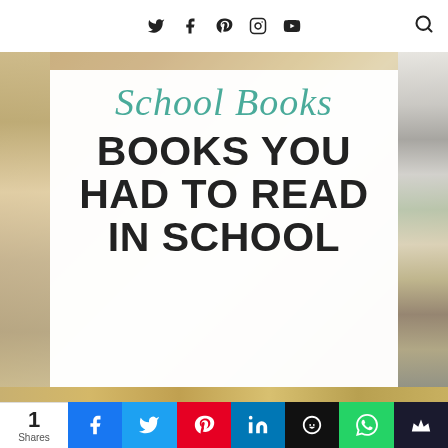Social media icons: Twitter, Facebook, Pinterest, Instagram, YouTube, Search
[Figure (illustration): Blog post cover image for 'School Books' featuring a library background with a white card overlay. The card shows 'School Books' in teal script font and 'BOOKS YOU HAD TO READ IN SCHOOL' in large bold black uppercase text.]
1 Shares | Facebook, Twitter, Pinterest, LinkedIn, Hootsuite, WhatsApp, Maker share buttons